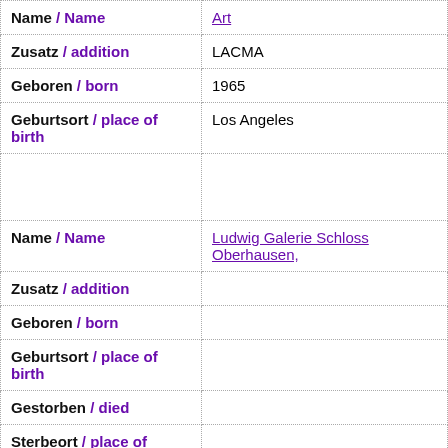| Field | Value |
| --- | --- |
| Name / Name | Art |
| Zusatz / addition | LACMA |
| Geboren / born | 1965 |
| Geburtsort / place of birth | Los Angeles |
| [spacer] |  |
| Name / Name | Ludwig Galerie Schloss Oberhausen, |
| Zusatz / addition |  |
| Geboren / born |  |
| Geburtsort / place of birth |  |
| Gestorben / died |  |
| Sterbeort / place of death |  |
| [spacer] |  |
| Name / Name | Inter F... |